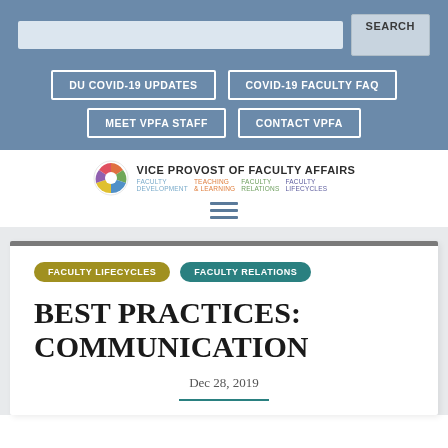SEARCH
DU COVID-19 UPDATES | COVID-19 FACULTY FAQ | MEET VPFA STAFF | CONTACT VPFA
[Figure (logo): Vice Provost of Faculty Affairs logo with circular icon and subtitle links: Faculty Development, Teaching & Learning, Faculty Relations, Faculty Lifecycles]
BEST PRACTICES: COMMUNICATION
FACULTY LIFECYCLES  FACULTY RELATIONS
Dec 28, 2019